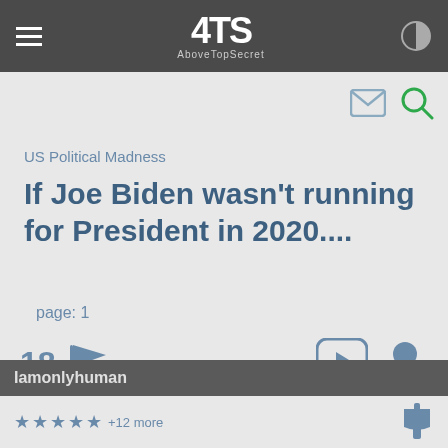ATS AboveTopSecret
US Political Madness
If Joe Biden wasn't running for President in 2020....
page: 1
18 [flag icon] [arrow icon] [user icon]
<< • 2 >>
share:
Iamonlyhuman
★ ★ ★ ★ ★ +12 more